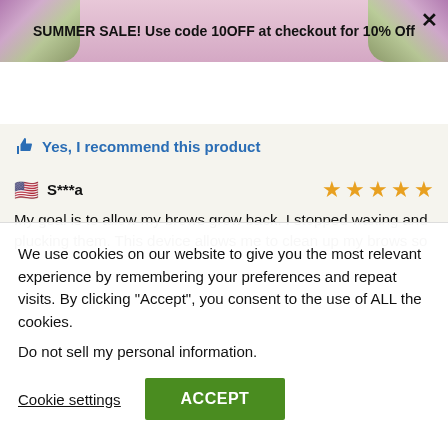SUMMER SALE! Use code 10OFF at checkout for 10% Off
Gadgets 4 Gifts
👍 Yes, I recommend this product
S***a ★★★★★
My goal is to allow my brows grow back. I stopped waxing and plucking them. This device allows me to clean up my brows so
We use cookies on our website to give you the most relevant experience by remembering your preferences and repeat visits. By clicking "Accept", you consent to the use of ALL the cookies.
Do not sell my personal information.
Cookie settings
ACCEPT